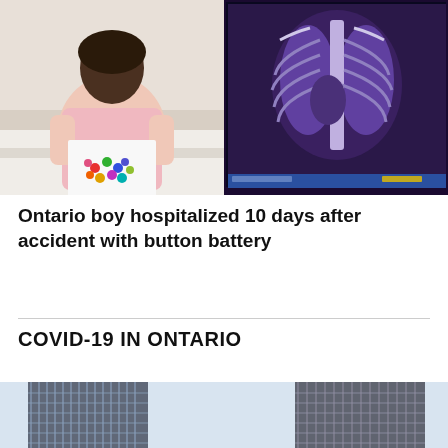[Figure (photo): Left: A young Black boy in a hospital gown sitting on a hospital bed, holding up a white paper with a colorful circular bead art design. Right: An X-ray image displayed on a medical monitor showing a chest/thorax X-ray with a bluish-purple tint.]
Ontario boy hospitalized 10 days after accident with button battery
COVID-19 IN ONTARIO
[Figure (photo): Bottom portion of two tall modern office/residential tower buildings photographed from ground level against a light sky.]